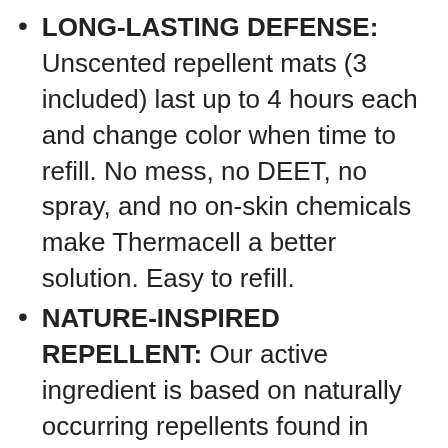LONG-LASTING DEFENSE: Unscented repellent mats (3 included) last up to 4 hours each and change color when time to refill. No mess, no DEET, no spray, and no on-skin chemicals make Thermacell a better solution. Easy to refill.
NATURE-INSPIRED REPELLENT: Our active ingredient is based on naturally occurring repellents found in plants. We've harnessed its power to fight the toughest mosquitoes on earth (including in